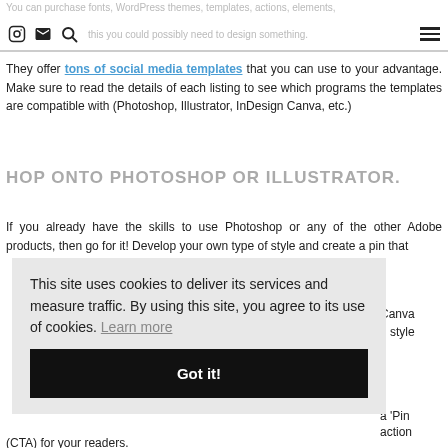You can purchase fonts, WordPress themes, templates, actions, elements, this you could possibly need to design something.
They offer tons of social media templates that you can use to your advantage. Make sure to read the details of each listing to see which programs the templates are compatible with (Photoshop, Illustrator, InDesign Canva, etc.)
HOP ONTO PHOTOSHOP OR ILLUSTRATOR.
If you already have the skills to use Photoshop or any of the other Adobe products, then go for it! Develop your own type of style and create a pin that
Canva n style
This site uses cookies to deliver its services and measure traffic. By using this site, you agree to its use of cookies. Learn more
Got it!
a 'Pin action
(CTA) for your readers.